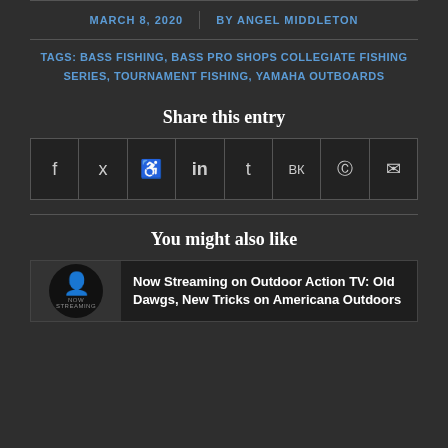MARCH 8, 2020  |  BY ANGEL MIDDLETON
TAGS: BASS FISHING, BASS PRO SHOPS COLLEGIATE FISHING SERIES, TOURNAMENT FISHING, YAMAHA OUTBOARDS
Share this entry
[Figure (infographic): Social share icons row: Facebook, Twitter, Pinterest, LinkedIn, Tumblr, VK, Reddit, Email]
You might also like
Now Streaming on Outdoor Action TV: Old Dawgs, New Tricks on Americana Outdoors